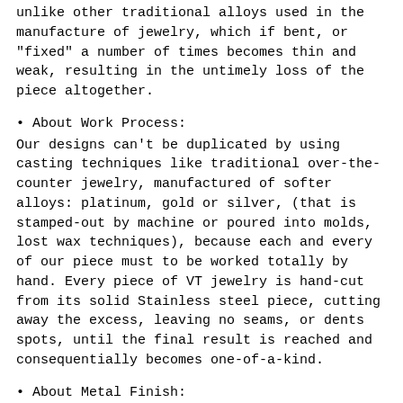unlike other traditional alloys used in the manufacture of jewelry, which if bent, or "fixed" a number of times becomes thin and weak, resulting in the untimely loss of the piece altogether.
• About Work Process:
Our designs can't be duplicated by using casting techniques like traditional over-the-counter jewelry, manufactured of softer alloys: platinum, gold or silver, (that is stamped-out by machine or poured into molds, lost wax techniques), because each and every of our piece must to be worked totally by hand. Every piece of VT jewelry is hand-cut from its solid Stainless steel piece, cutting away the excess, leaving no seams, or dents spots, until the final result is reached and consequentially becomes one-of-a-kind.
• About Metal Finish:
We do give to Our jewelry two different finish depends to the design and also the kind of final effect we are trying to achieve. Mirror shine and soft brushed (satin finish). The mirror shine commonly called high